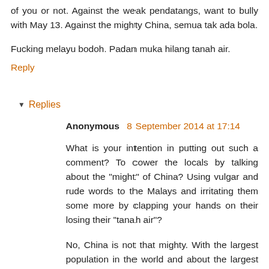of you or not. Against the weak pendatangs, want to bully with May 13. Against the mighty China, semua tak ada bola.
Fucking melayu bodoh. Padan muka hilang tanah air.
Reply
Replies
Anonymous 8 September 2014 at 17:14
What is your intention in putting out such a comment? To cower the locals by talking about the "might" of China? Using vulgar and rude words to the Malays and irritating them some more by clapping your hands on their losing their "tanah air"?
No, China is not that mighty. With the largest population in the world and about the largest country on earth, they are only the 2nd largest economy in the world. They have been conquered and ruled by foreigners for hundreds